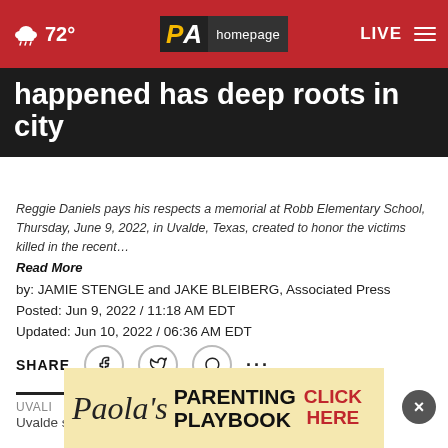72° PA homepage LIVE
happened has deep roots in city
Reggie Daniels pays his respects a memorial at Robb Elementary School, Thursday, June 9, 2022, in Uvalde, Texas, created to honor the victims killed in the recent… Read More
by: JAMIE STENGLE and JAKE BLEIBERG, Associated Press
Posted: Jun 9, 2022 / 11:18 AM EDT
Updated: Jun 10, 2022 / 06:36 AM EDT
SHARE
UVALDE
Uvalde struggles to heal after a gunman killed 19